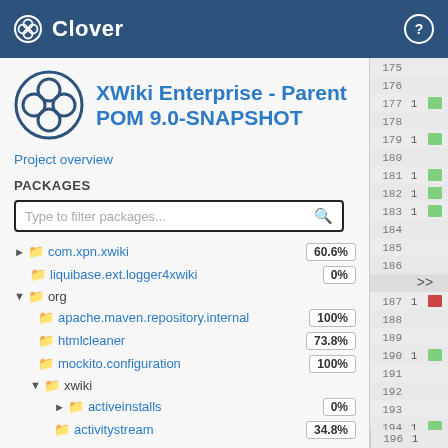Clover
XWiki Enterprise - Parent POM 9.0-SNAPSHOT
Project overview
PACKAGES
Type to filter packages...
com.xpn.xwiki  60.6%
liquibase.ext.logger4xwiki  0%
org
apache.maven.repository.internal  100%
htmlcleaner  73.8%
mockito.configuration  100%
xwiki
activeinstalls  0%
activitystream  34.8%
[Figure (screenshot): Right-side code coverage gutter showing line numbers 175-196 with green coverage bars and counts]